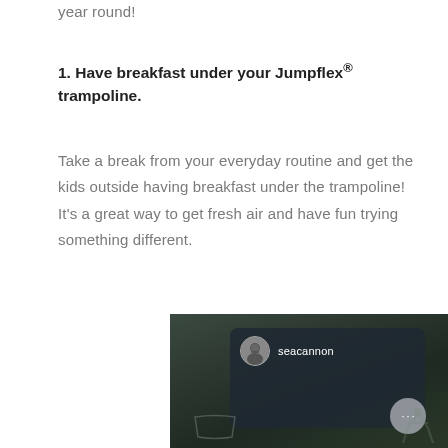year round!
1. Have breakfast under your Jumpflex® trampoline.
Take a break from your everyday routine and get the kids outside having breakfast under the trampoline! It's a great way to get fresh air and have fun trying something different.
[Figure (screenshot): A screenshot of a social media post by user 'seacannon' showing a dark outdoor scene, possibly under a trampoline at night. The interface shows a circular avatar of the user, their username 'seacannon', and a more options button (…). There is a partial view of what appears to be a person or object at the bottom.]